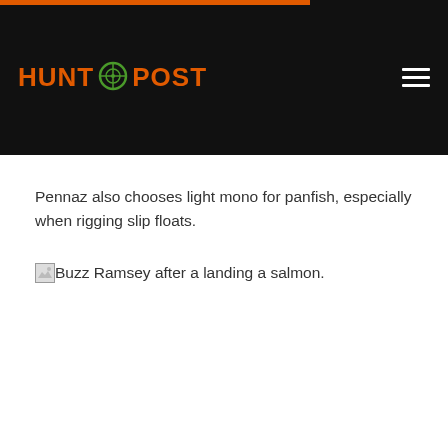HUNT POST
Pennaz also chooses light mono for panfish, especially when rigging slip floats.
[Figure (photo): Broken image placeholder with alt text: Buzz Ramsey after a landing a salmon.]